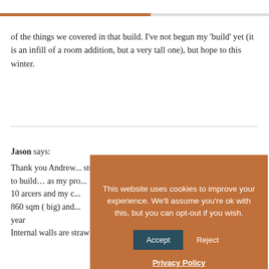of the things we covered in that build. I've not begun my 'build' yet (it is an infill of a room addition, but a very tall one), but hope to this winter.
Jason says:
Thank you Andrew... studying your way o... to build… as my pro... 10 arcers and my c... 860 sqm ( big) and... year
Internal walls are straw bale as well.
[Figure (other): Cookie consent overlay popup with orange background. Text: 'This website uses cookies to improve your experience. We'll assume you're ok with this, but you can opt-out if you wish.' Buttons: Accept (dark teal), Reject (white text). Privacy Policy link underlined.]